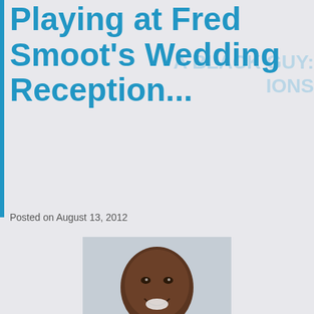Playing at Fred Smoot's Wedding Reception...
Posted on August 13, 2012
[Figure (photo): Photo of Fred Smoot smiling, wearing a Washington Redskins white jersey with number 75 patch]
Music always has a way of landing me in some interesting and sometimes comedic situations. This one took place in September of 2009... My man Asheru knew a kat who had a direct link to members of the Washington...